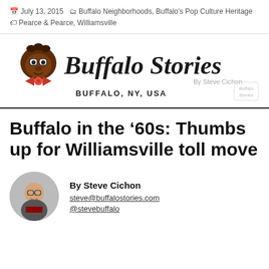July 13, 2015  Buffalo Neighborhoods, Buffalo's Pop Culture Heritage  Pearce & Pearce, Williamsville
[Figure (logo): Buffalo Stories logo with cartoon buffalo character wearing red bow tie, script text 'Buffalo Stories By Steve Cichon', subtitle 'BUFFALO, NY, USA']
Buffalo in the ’60s: Thumbs up for Williamsville toll move
By Steve Cichon
steve@buffalostories.com
@stevebuffalo